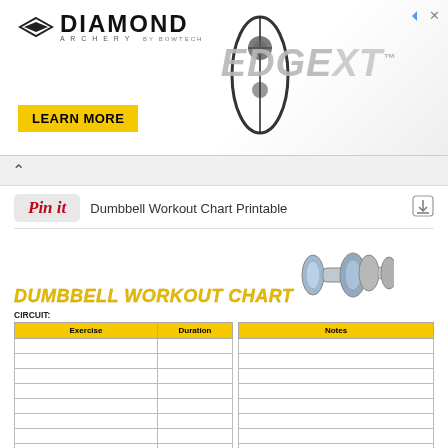[Figure (other): Diamond Archery Edge XT advertisement banner with logo, bow image, and EDGE XT text in gray. Includes a yellow LEARN MORE button.]
[Figure (screenshot): Browser UI: back arrow chevron indicating a web browser navigation element.]
[Figure (other): Pinterest Pin it button followed by text 'Dumbbell Workout Chart Printable' and a download icon.]
DUMBBELL WORKOUT CHART
[Figure (illustration): Illustration of two dumbbells — one blue/silver and one gray — shown side by side.]
CIRCUIT:
| Exercise | Duration | Notes |
| --- | --- | --- |
|  |  |  |
|  |  |  |
|  |  |  |
|  |  |  |
|  |  |  |
|  |  |  |
|  |  |  |
|  |  |  |
|  |  |  |
|  |  |  |
|  |  |  |